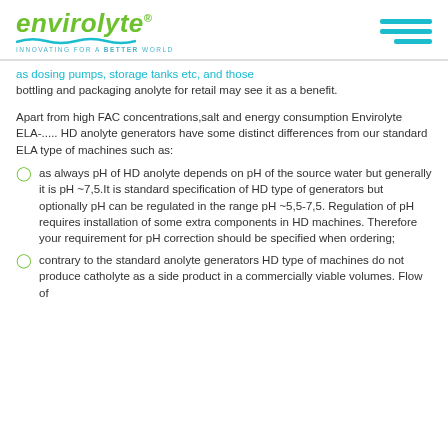envirolyte® — INNOVATING FOR A BETTER WORLD
as dosing pumps, storage tanks etc, and those bottling and packaging anolyte for retail may see it as a benefit.
Apart from high FAC concentrations,salt and energy consumption Envirolyte ELA-..... HD anolyte generators have some distinct differences from our standard ELA type of machines such as:
as always pH of HD anolyte depends on pH of the source water but generally it is pH ~7,5.It is standard specification of HD type of generators but optionally pH can be regulated in the range pH ~5,5-7,5. Regulation of pH requires installation of some extra components in HD machines. Therefore your requirement for pH correction should be specified when ordering;
contrary to the standard anolyte generators HD type of machines do not produce catholyte as a side product in a commercially viable volumes. Flow of